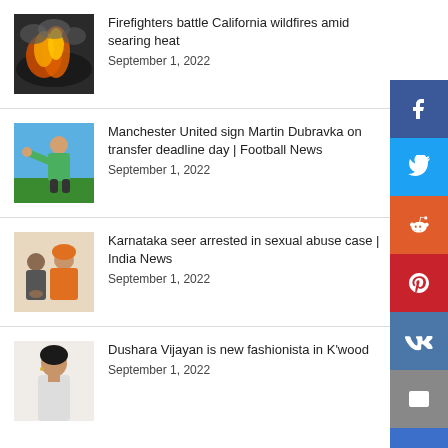Firefighters battle California wildfires amid searing heat
September 1, 2022
Manchester United sign Martin Dubravka on transfer deadline day | Football News
September 1, 2022
Karnataka seer arrested in sexual abuse case | India News
September 1, 2022
Dushara Vijayan is new fashionista in K'wood
September 1, 2022